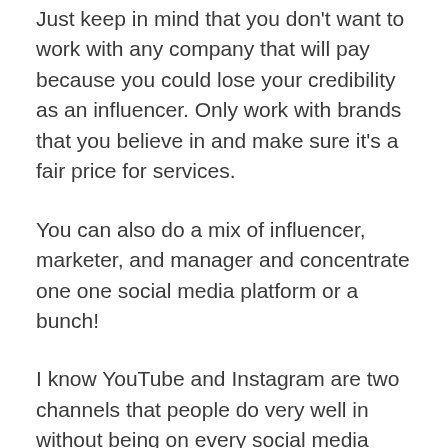Just keep in mind that you don't want to work with any company that will pay because you could lose your credibility as an influencer. Only work with brands that you believe in and make sure it's a fair price for services.
You can also do a mix of influencer, marketer, and manager and concentrate one one social media platform or a bunch!
I know YouTube and Instagram are two channels that people do very well in without being on every social media platform or having a website. You just have to do well at connecting with others and building an audience, and you can make money just through YouTube or Instagram!